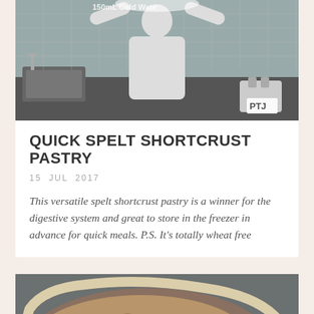[Figure (photo): Woman in white shirt tossing flour in a kitchen]
QUICK SPELT SHORTCRUST PASTRY
15  JUL  2017
This versatile spelt shortcrust pastry is a winner for the digestive system and great to store in the freezer in advance for quick meals. P.S. It's totally wheat free
[Figure (photo): Baked tart with sliced potato topping in a pie dish with a play button overlay]